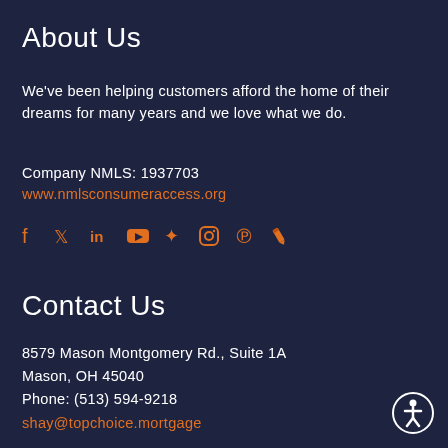About Us
We've been helping customers afford the home of their dreams for many years and we love what we do.
Company NMLS: 1937703
www.nmlsconsumeraccess.org
[Figure (infographic): Social media icons: Facebook, Twitter, LinkedIn, YouTube, Yelp, Instagram, Pinterest, Zillow]
Contact Us
8579 Mason Montgomery Rd., Suite 1A
Mason, OH 45040
Phone: (513) 594-9218
shay@topchoice.mortgage
[Figure (illustration): Accessibility icon - white circle with person figure]